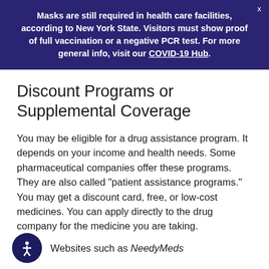Masks are still required in health care facilities, according to New York State. Visitors must show proof of full vaccination or a negative PCR test. For more general info, visit our COVID-19 Hub.
Discount Programs or Supplemental Coverage
You may be eligible for a drug assistance program. It depends on your income and health needs. Some pharmaceutical companies offer these programs. They are also called "patient assistance programs." You may get a discount card, free, or low-cost medicines. You can apply directly to the drug company for the medicine you are taking.
Websites such as NeedyMeds